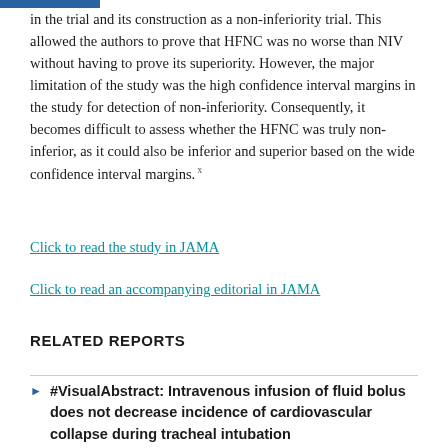…udy included the large number of participants in the trial and its construction as a non-inferiority trial. This allowed the authors to prove that HFNC was no worse than NIV without having to prove its superiority. However, the major limitation of the study was the high confidence interval margins in the study for detection of non-inferiority. Consequently, it becomes difficult to assess whether the HFNC was truly non-inferior, as it could also be inferior and superior based on the wide confidence interval margins.
Click to read the study in JAMA
Click to read an accompanying editorial in JAMA
RELATED REPORTS
#VisualAbstract: Intravenous infusion of fluid bolus does not decrease incidence of cardiovascular collapse during tracheal intubation